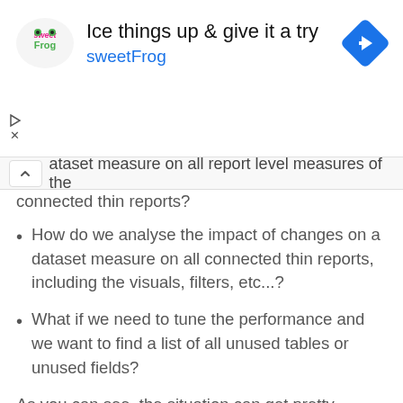[Figure (other): Advertisement banner for sweetFrog with logo, text 'Ice things up & give it a try sweetFrog', and a blue diamond navigation arrow icon]
ataset measure on all report level measures of the connected thin reports?
How do we analyse the impact of changes on a dataset measure on all connected thin reports, including the visuals, filters, etc...?
What if we need to tune the performance and we want to find a list of all unused tables or unused fields?
As you can see, the situation can get pretty complex, so manual operations are virtually impossible.
But there is a third party tool we can use which provides heaps of capabilities with a couple of clicks.